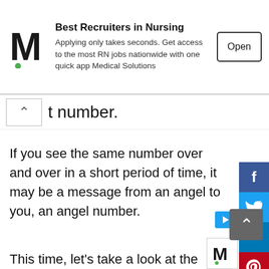[Figure (screenshot): Ad banner for Medical Solutions nursing recruiter app with M logo and Open button]
t number.
If you see the same number over and over in a short period of time, it may be a message from an angel to you, an angel number.
This time, let’s take a look at the meaning and message of “194” from among such angel numbers.
What does the angel number “194” mean?
Angel number 194 is a sign that an angel will
We do not collect any information other than the minimum cookie information necessary to use the website. We’re sorry, but if you don’t agree, you can just leave the site.
[Figure (screenshot): Social sharing sidebar with Facebook, Twitter, LinkedIn, Pinterest, Reddit buttons]